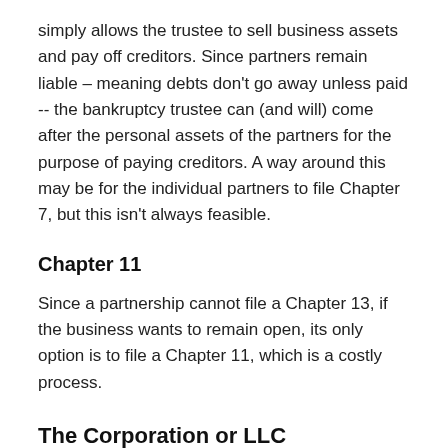simply allows the trustee to sell business assets and pay off creditors. Since partners remain liable – meaning debts don't go away unless paid -- the bankruptcy trustee can (and will) come after the personal assets of the partners for the purpose of paying creditors. A way around this may be for the individual partners to file Chapter 7, but this isn't always feasible.
Chapter 11
Since a partnership cannot file a Chapter 13, if the business wants to remain open, its only option is to file a Chapter 11, which is a costly process.
The Corporation or LLC